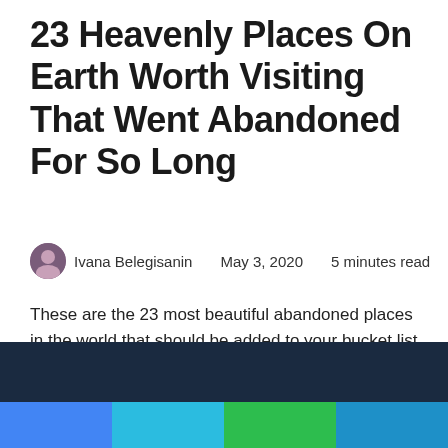23 Heavenly Places On Earth Worth Visiting That Went Abandoned For So Long
Ivana Belegisanin   May 3, 2020   5 minutes read
These are the 23 most beautiful abandoned places in the world that should be added to your bucket list right away, before they go extinct.
1. SS Ayrfield, Homebush bay, Australia:
[Figure (photo): Dark navy/dark teal image strip at the bottom of the page, partially visible, appears to be a photo of an abandoned ship or location. Below it are four colored social sharing button bars: blue, light blue, green, and medium blue.]